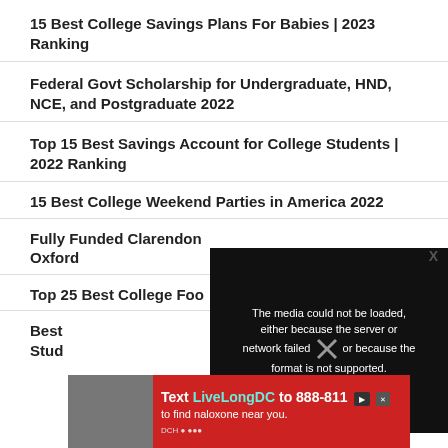15 Best College Savings Plans For Babies | 2023 Ranking
Federal Govt Scholarship for Undergraduate, HND, NCE, and Postgraduate 2022
Top 15 Best Savings Account for College Students | 2022 Ranking
15 Best College Weekend Parties in America 2022
Fully Funded Clarendon Scholarship at Oxford
Top 25 Best College Foo...
Best ... Stu...
[Figure (screenshot): Media error overlay on black background reading: The media could not be loaded, either because the server or network failed or because the format is not supported.]
[Figure (infographic): Red advertisement banner: Text LiveLongDC to 888-811 to find naloxone near you. DCH logo.]